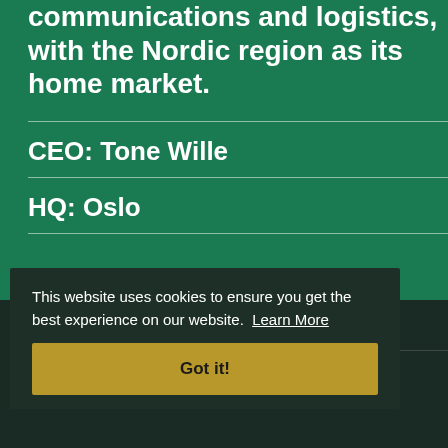communications and logistics, with the Nordic region as its home market.
CEO: Tone Wille
HQ: Oslo
Established: 1647
Employees: 20.500
This website uses cookies to ensure you get the best experience on our website. Learn More
Got it!